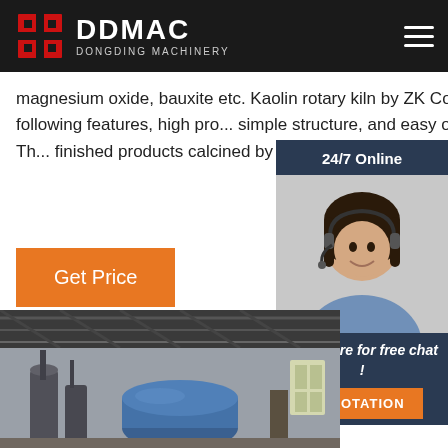DDMAC DONGDING MACHINERY
magnesium oxide, bauxite etc. Kaolin rotary kiln by ZK Corp has the following features, high pro... simple structure, and easy operation etc.. Th... finished products calcined by Kaolin ...
Get Price
[Figure (photo): Customer service representative wearing headset, with 24/7 Online chat panel and QUOTATION button]
[Figure (photo): Interior of industrial factory building showing large rotary kiln equipment with blue cylinder and metal framework]